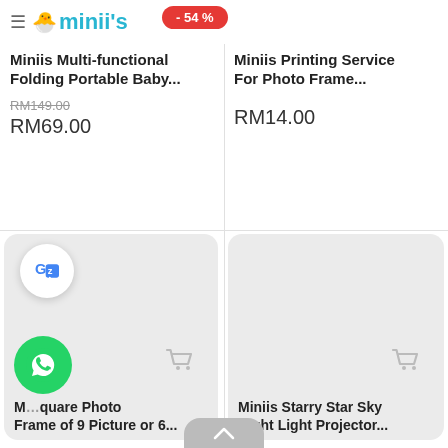≡ minii's
- 54 %
Miniis Multi-functional Folding Portable Baby...
RM149.00
RM69.00
Miniis Printing Service For Photo Frame...
RM14.00
[Figure (screenshot): Product card placeholder with shopping cart icon - bottom left]
M...quare Photo Frame of 9 Picture or 6...
[Figure (screenshot): Product card placeholder with shopping cart icon - bottom right]
Miniis Starry Star Sky Night Light Projector...